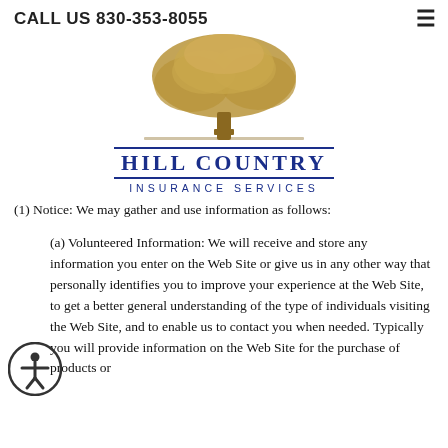CALL US 830-353-8055
[Figure (logo): Hill Country Insurance Services logo with oak tree illustration and blue text]
(1) Notice: We may gather and use information as follows:
(a) Volunteered Information: We will receive and store any information you enter on the Web Site or give us in any other way that personally identifies you to improve your experience at the Web Site, to get a better general understanding of the type of individuals visiting the Web Site, and to enable us to contact you when needed. Typically you will provide information on the Web Site for the purchase of products or